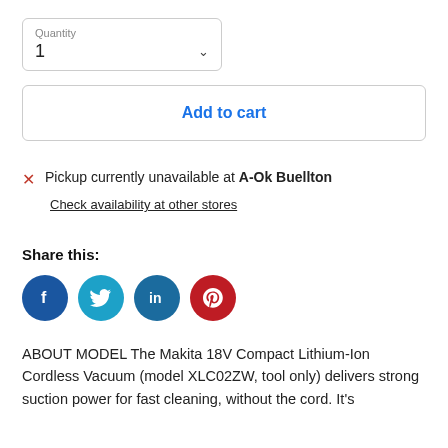Quantity
1
Add to cart
Pickup currently unavailable at A-Ok Buellton
Check availability at other stores
Share this:
[Figure (infographic): Social media share icons: Facebook (blue), Twitter (light blue), LinkedIn (dark blue), Pinterest (red)]
ABOUT MODEL The Makita 18V Compact Lithium-Ion Cordless Vacuum (model XLC02ZW, tool only) delivers strong suction power for fast cleaning, without the cord. It's